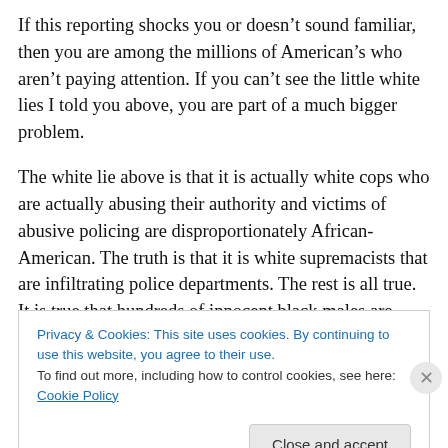If this reporting shocks you or doesn't sound familiar, then you are among the millions of American's who aren't paying attention. If you can't see the little white lies I told you above, you are part of a much bigger problem.
The white lie above is that it is actually white cops who are actually abusing their authority and victims of abusive policing are disproportionately African-American. The truth is that it is white supremacists that are infiltrating police departments. The rest is all true. It is true that hundreds of innocent black males are killed in police actions every
Privacy & Cookies: This site uses cookies. By continuing to use this website, you agree to their use.
To find out more, including how to control cookies, see here: Cookie Policy
Close and accept